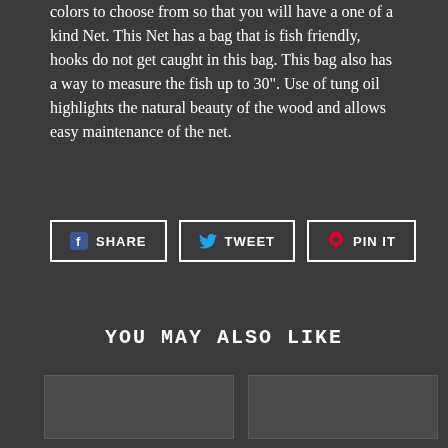colors to choose from so that you will have a one of a kind Net. This Net has a bag that is fish friendly, hooks do not get caught in this bag. This bag also has a way to measure the fish up to 30". Use of tung oil highlights the natural beauty of the wood and allows easy maintenance of the net.
[Figure (other): Social sharing buttons: SHARE (Facebook), TWEET (Twitter), PIN IT (Pinterest)]
YOU MAY ALSO LIKE
[Figure (photo): Product image placeholder (dark gray rectangle) for Magnetic Lanyard]
Magnetic Lanyard sold with net only
[Figure (photo): Product image placeholder (dark gray rectangle) for second product]